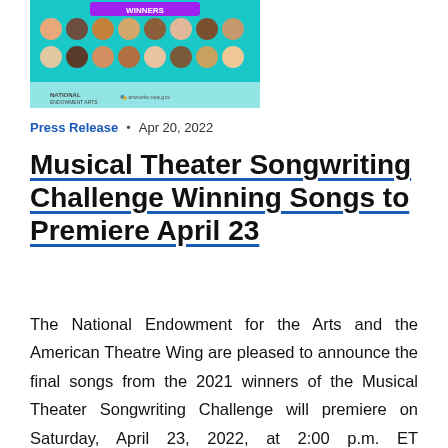[Figure (photo): Grid of winner portraits from the Musical Theater Songwriting Challenge, teal/cyan background with 'WINNERS' banner at top and sponsor logos at bottom.]
Press Release • Apr 20, 2022
Musical Theater Songwriting Challenge Winning Songs to Premiere April 23
The National Endowment for the Arts and the American Theatre Wing are pleased to announce the final songs from the 2021 winners of the Musical Theater Songwriting Challenge will premiere on Saturday, April 23, 2022, at 2:00 p.m. ET iHeartRadio Broadw...